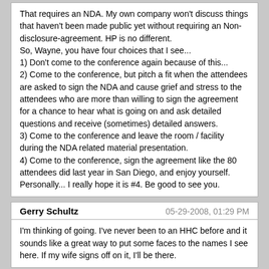That requires an NDA. My own company won't discuss things that haven't been made public yet without requiring an Non-disclosure-agreement. HP is no different.
So, Wayne, you have four choices that I see...
1) Don't come to the conference again because of this...
2) Come to the conference, but pitch a fit when the attendees are asked to sign the NDA and cause grief and stress to the attendees who are more than willing to sign the agreement for a chance to hear what is going on and ask detailed questions and receive (sometimes) detailed answers.
3) Come to the conference and leave the room / facility during the NDA related material presentation.
4) Come to the conference, sign the agreement like the 80 attendees did last year in San Diego, and enjoy yourself.
Personally... I really hope it is #4. Be good to see you.
Gerry Schultz
05-29-2008, 01:29 PM
I'm thinking of going. I've never been to an HHC before and it sounds like a great way to put some faces to the names I see here. If my wife signs off on it, I'll be there.